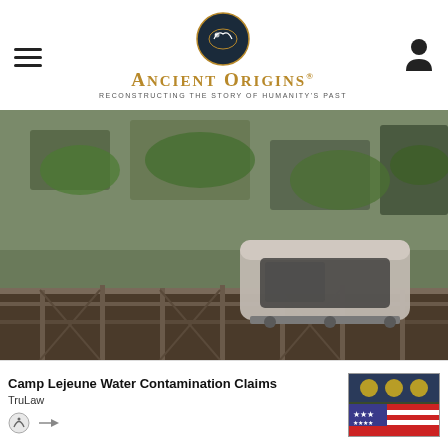Ancient Origins — Reconstructing the story of humanity's past
[Figure (photo): A mine cart or cable car on rusted tracks/scaffolding against a green rocky cliff face]
Ancient Origins © 2013 - 2022
Disclaimer - Terms of Publication - Privacy Policy & Cookies - Advertising Policy - Submissions - We Give Back - Contact us
A project of Stella Novus
Camp Lejeune Water Contamination Claims
TruLaw